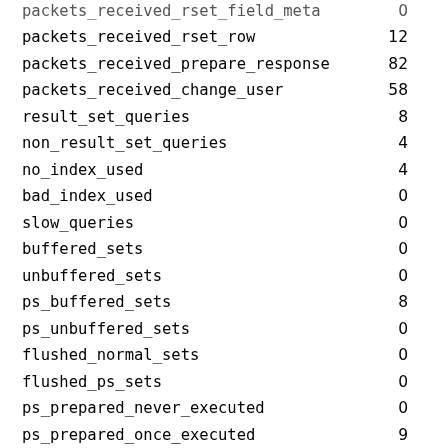| name | value |
| --- | --- |
| packets_received_rset_field_meta | 0 |
| packets_received_rset_row | 12 |
| packets_received_prepare_response | 82 |
| packets_received_change_user | 58 |
| result_set_queries | 8 |
| non_result_set_queries | 4 |
| no_index_used | 4 |
| bad_index_used | 0 |
| slow_queries | 0 |
| buffered_sets | 0 |
| unbuffered_sets | 0 |
| ps_buffered_sets | 8 |
| ps_unbuffered_sets | 0 |
| flushed_normal_sets | 0 |
| flushed_ps_sets | 0 |
| ps_prepared_never_executed | 0 |
| ps_prepared_once_executed | 9 |
| rows_fetched_from_server_normal | 0 |
| rows_fetched_from_server_ps | 50 |
| rows_buffered_from_client_normal | 0 |
| rows_buffered_from_client_ps | 50 |